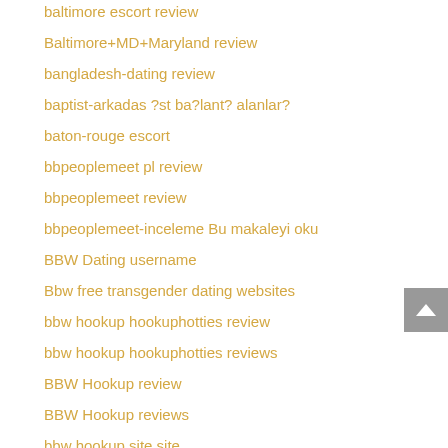baltimore escort review
Baltimore+MD+Maryland review
bangladesh-dating review
baptist-arkadas ?st ba?lant? alanlar?
baton-rouge escort
bbpeoplemeet pl review
bbpeoplemeet review
bbpeoplemeet-inceleme Bu makaleyi oku
BBW Dating username
Bbw free transgender dating websites
bbw hookup hookuphotties review
bbw hookup hookuphotties reviews
BBW Hookup review
BBW Hookup reviews
bbw hookup site site